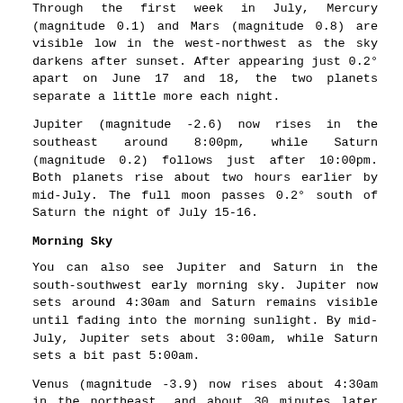Through the first week in July, Mercury (magnitude 0.1) and Mars (magnitude 0.8) are visible low in the west-northwest as the sky darkens after sunset. After appearing just 0.2° apart on June 17 and 18, the two planets separate a little more each night.
Jupiter (magnitude -2.6) now rises in the southeast around 8:00pm, while Saturn (magnitude 0.2) follows just after 10:00pm. Both planets rise about two hours earlier by mid-July. The full moon passes 0.2° south of Saturn the night of July 15-16.
Morning Sky
You can also see Jupiter and Saturn in the south-southwest early morning sky. Jupiter now sets around 4:30am and Saturn remains visible until fading into the morning sunlight. By mid-July, Jupiter sets about 3:00am, while Saturn sets a bit past 5:00am.
Venus (magnitude -3.9) now rises about 4:30am in the northeast, and about 30 minutes later just before sunrise by mid-July.
Moon Phases
Last (6/25), new (7/2), first (7/9), full (7/16), last (7/24), new